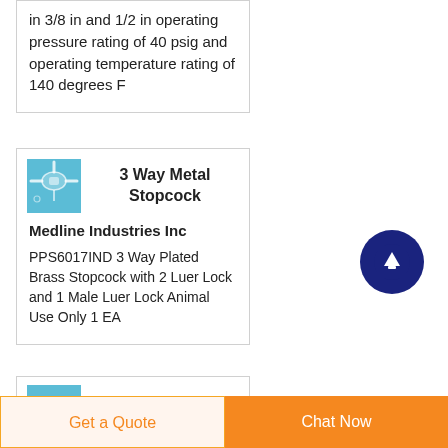in 3/8 in and 1/2 in operating pressure rating of 40 psig and operating temperature rating of 140 degrees F
[Figure (photo): Product image of a 3 Way Metal Stopcock on blue background]
3 Way Metal Stopcock
Medline Industries Inc
PPS6017IND 3 Way Plated Brass Stopcock with 2 Luer Lock and 1 Male Luer Lock Animal Use Only 1 EA
[Figure (photo): Product image of Multiway stopcock on blue background]
Multiway
Get a Quote
Chat Now